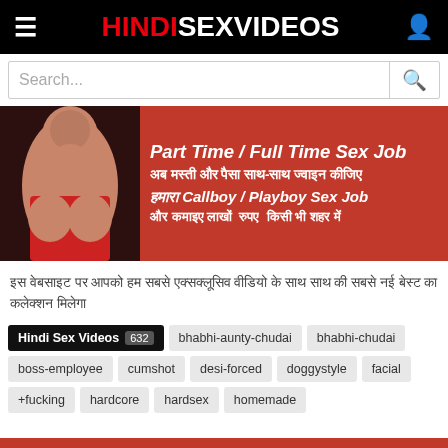HINDI SEX VIDEOS
Search...
[Figure (infographic): Red banner advertisement: Part Time / Full Time Sex Job. Hindi text about joining callboy/playboy sex job and earning lakhs in any city.]
इस वेबसाइट पर आपको हम सबसे एक्सक्लूसिव वीडियो के साथ साथ की सबसे नई बेस्ट का कलेक्शन मिलेगा
Hindi Sex Videos 632
bhabhi-aunty-chudai
bhabhi-chudai
boss-employee
cumshot
desi-forced
doggystyle
facial
+fucking
hardcore
hardsex
homemade